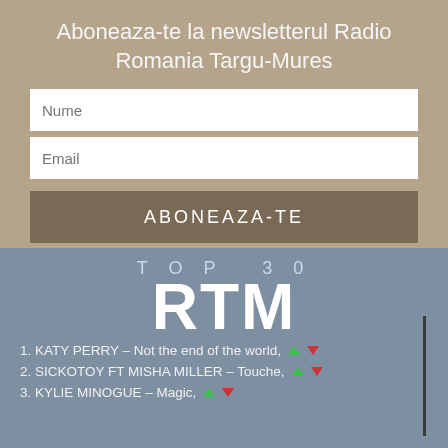Aboneaza-te la newsletterul Radio Romania Targu-Mures
Nume
Email
ABONEAZA-TE
TOP 30
RTM
1. KATY PERRY – Not the end of the world,
2. SICKOTOY FT MISHA MILLER – Touche,
3. KYLIE MINOGUE – Magic,